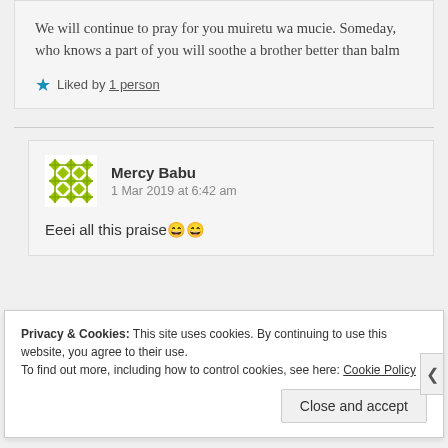We will continue to pray for you muiretu wa mucie. Someday, who knows a part of you will soothe a brother better than balm
★ Liked by 1 person
Mercy Babu
1 Mar 2019 at 6:42 am
Eeei all this praise 😁😁
Privacy & Cookies: This site uses cookies. By continuing to use this website, you agree to their use. To find out more, including how to control cookies, see here: Cookie Policy
Close and accept